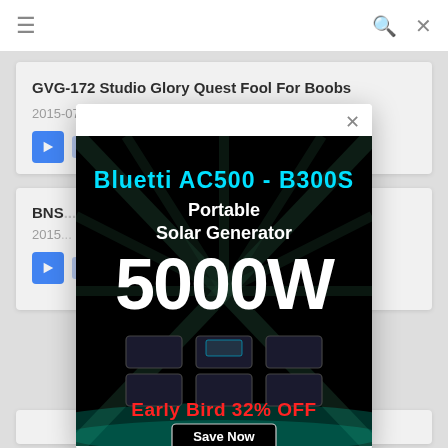≡  🔍  ✕
GVG-172 Studio Glory Quest Fool For Boobs
2015-07-16
Play Trailer
BNSR... Wife...
2015...
[Figure (screenshot): Advertisement popup for Bluetti AC500 - B300S Portable Solar Generator 5000W, Early Bird 32% OFF, Save Now button, with close (x) button at top right]